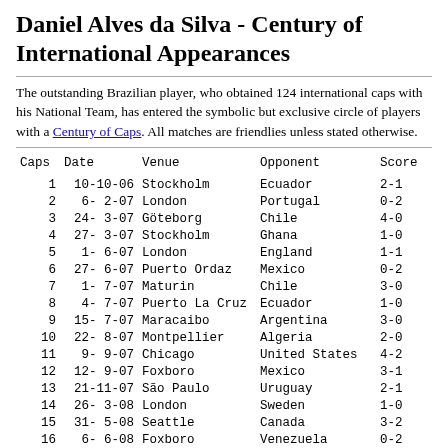Daniel Alves da Silva - Century of International Appearances
The outstanding Brazilian player, who obtained 124 international caps with his National Team, has entered the symbolic but exclusive circle of players with a Century of Caps. All matches are friendlies unless stated otherwise.
| Caps | Date | Venue | Opponent | Score |  |
| --- | --- | --- | --- | --- | --- |
| 1 | 10-10-06 | Stockholm | Ecuador | 2-1 |  |
| 2 | 6- 2-07 | London | Portugal | 0-2 |  |
| 3 | 24- 3-07 | Göteborg | Chile | 4-0 |  |
| 4 | 27- 3-07 | Stockholm | Ghana | 1-0 |  |
| 5 | 1- 6-07 | London | England | 1-1 |  |
| 6 | 27- 6-07 | Puerto Ordaz | Mexico | 0-2 |  |
| 7 | 1- 7-07 | Maturin | Chile | 3-0 |  |
| 8 | 4- 7-07 | Puerto La Cruz | Ecuador | 1-0 |  |
| 9 | 15- 7-07 | Maracaibo | Argentina | 3-0 |  |
| 10 | 22- 8-07 | Montpellier | Algeria | 2-0 |  |
| 11 | 9- 9-07 | Chicago | United States | 4-2 |  |
| 12 | 12- 9-07 | Foxboro | Mexico | 3-1 |  |
| 13 | 21-11-07 | São Paulo | Uruguay | 2-1 | W |
| 14 | 26- 3-08 | London | Sweden | 1-0 |  |
| 15 | 31- 5-08 | Seattle | Canada | 3-2 |  |
| 16 | 6- 6-08 | Foxboro | Venezuela | 0-2 |  |